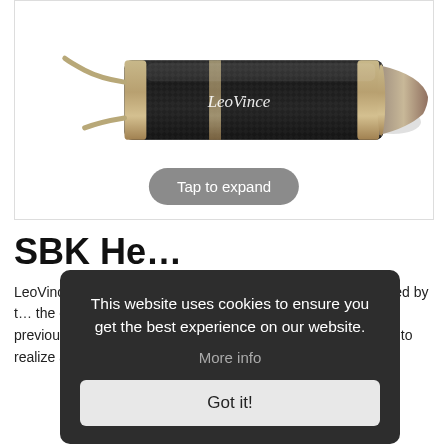[Figure (photo): LeoVince carbon fiber exhaust muffler/silencer with metal end cap and LeoVince branding text on a white background. A 'Tap to expand' button overlay appears at the bottom of the image.]
SBK He...
LeoVince rene... approved EVO... Style, materials... developed by t... the concept of... laws as for the previous series, and extracting the technical solutions in order to realize a new line of innovative and
This website uses cookies to ensure you get the best experience on our website.
More info
Got it!